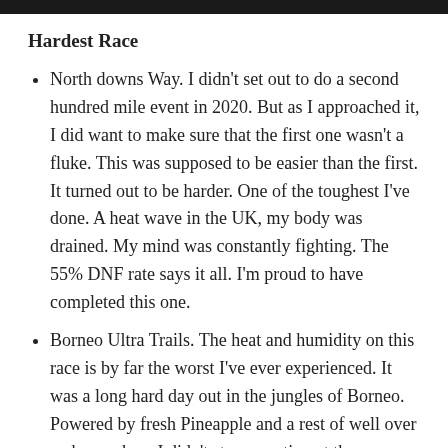Hardest Race
North downs Way. I didn't set out to do a second hundred mile event in 2020. But as I approached it, I did want to make sure that the first one wasn't a fluke. This was supposed to be easier than the first. It turned out to be harder. One of the toughest I've done. A heat wave in the UK, my body was drained. My mind was constantly fighting. The 55% DNF rate says it all. I'm proud to have completed this one.
Borneo Ultra Trails. The heat and humidity on this race is by far the worst I've ever experienced. It was a long hard day out in the jungles of Borneo. Powered by fresh Pineapple and a rest of well over an hour where I didn't stop sweating at the